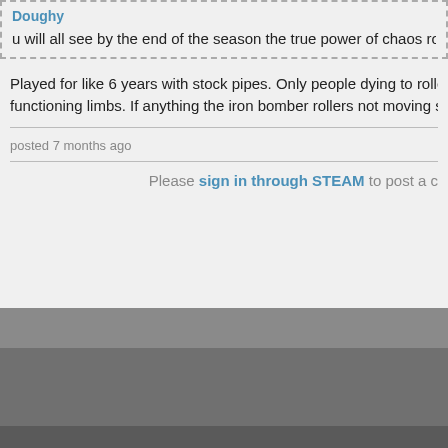Doughy
u will all see by the end of the season the true power of chaos rollers. You think the 8x
Played for like 6 years with stock pipes. Only people dying to rollers in the w functioning limbs. If anything the iron bomber rollers not moving seems stro
posted 7 months ago
Please sign in through STEAM to post a c